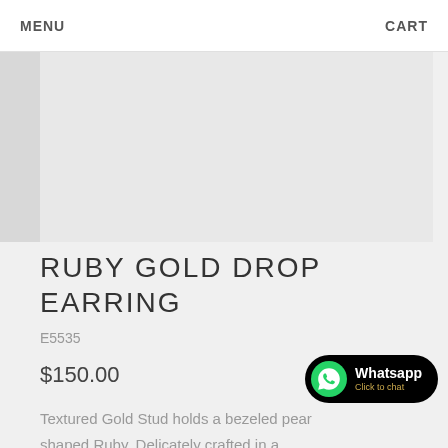MENU   CART
[Figure (photo): Product image area showing a jewelry item (Ruby Gold Drop Earring), shown as a light gray placeholder area]
RUBY GOLD DROP EARRING
E5535
$150.00
Textured Gold Stud holds a bezeled pear shaped Ruby. Delicately crafted in a versatile design, this earring is naturally
[Figure (logo): WhatsApp button with green WhatsApp icon, black rounded rectangle, text 'Whatsapp' and 'Click to chat']